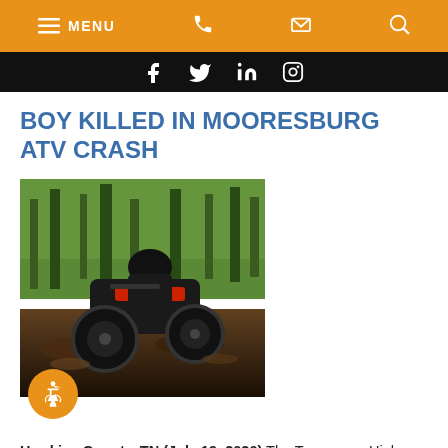MENU [navigation icons: phone, email, search]
[Figure (screenshot): Social media icon bar (Facebook, Twitter/X, LinkedIn, Instagram) on black background]
BOY KILLED IN MOORESBURG ATV CRASH
[Figure (photo): Close-up action photo of an ATV (all-terrain vehicle) riding through muddy dirt trail in wooded area, with rider visible]
Hawkins County, TN (July 19, 2020) The Tennessee Highway Patrol reports that a 12-year-old boy in